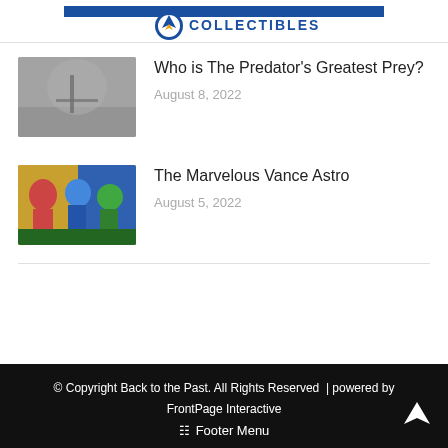Back to the Past Collectibles logo
Who is The Predator's Greatest Prey?
August 8, 2022
The Marvelous Vance Astro
August 5, 2022
© Copyright Back to the Past. All Rights Reserved  | powered by FrontPage Interactive  Footer Menu